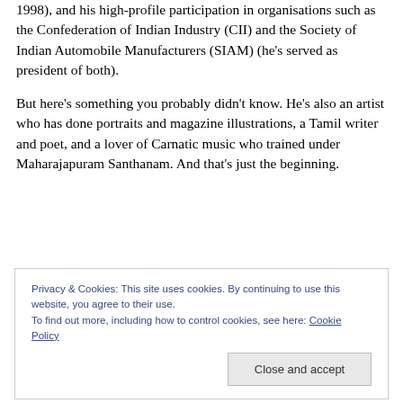1998), and his high-profile participation in organisations such as the Confederation of Indian Industry (CII) and the Society of Indian Automobile Manufacturers (SIAM) (he's served as president of both).
But here's something you probably didn't know. He's also an artist who has done portraits and magazine illustrations, a Tamil writer and poet, and a lover of Carnatic music who trained under Maharajapuram Santhanam. And that's just the beginning.
Privacy & Cookies: This site uses cookies. By continuing to use this website, you agree to their use.
To find out more, including how to control cookies, see here: Cookie Policy
Close and accept